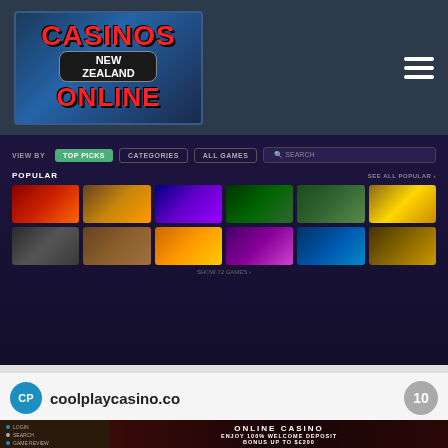[Figure (logo): Casinos New Zealand Online logo on dark blue/navy header bar with hamburger menu icon on the right]
[Figure (screenshot): Casino games lobby screenshot showing Top Picks, Categories, All Games tabs. Popular section with 12 game thumbnails including Big Bass Bonanza, Buffalo King Megaways, 5 Lions Megaways, Thor Megaways, and others on dark purple background.]
coolplaycasino.co
[Figure (screenshot): Coolplay Casino website screenshot showing 'ONLINE CASINO - ENJOY 100% WELCOME DEPOSIT BONUS UP TO $£200' promotional banner with a woman in red dress at a casino table]